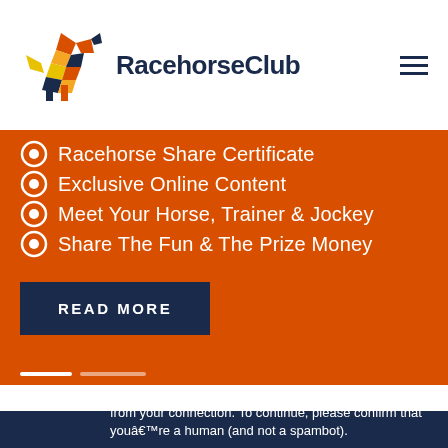RacehorseClub
Racehorse Share Certificate
Exclusive Online Content
Meet Your Horse, Trainer & Jockey
Share The Fun & The Prize Money
READ MORE
The Frankie Dettori TV advert
from your connection. To continue, please confirm that youâ€™re a human (and not a spambot).